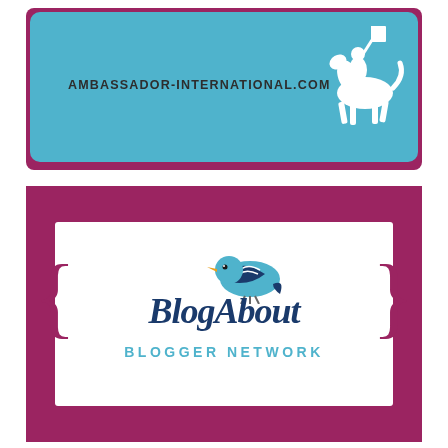[Figure (logo): Ambassador International business card with blue background, knight on horseback silhouette, and URL AMBASSADOR-INTERNATIONAL.COM on dark maroon/purple border]
[Figure (logo): BlogAbout Blogger Network logo on white card with maroon/purple border. Features a blue bird, curly bracket decorations in maroon, script text 'BlogAbout' in navy blue, and 'BLOGGER NETWORK' in light blue below.]